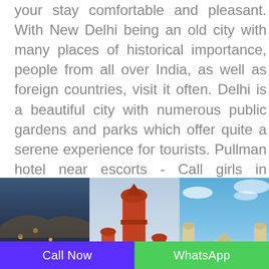your stay comfortable and pleasant. With New Delhi being an old city with many places of historical importance, people from all over India, as well as foreign countries, visit it often. Delhi is a beautiful city with numerous public gardens and parks which offer quite a serene experience for tourists. Pullman hotel near escorts - Call girls in Aerocity Hotel There are many shopping malls in New Delhi that attract shoppers from other states too.
[Figure (photo): Three photos side by side: a night scene of ghats/river with lights, a mosque/minaret in red stone, and an ornate palace/building under blue sky]
Call Now
WhatsApp